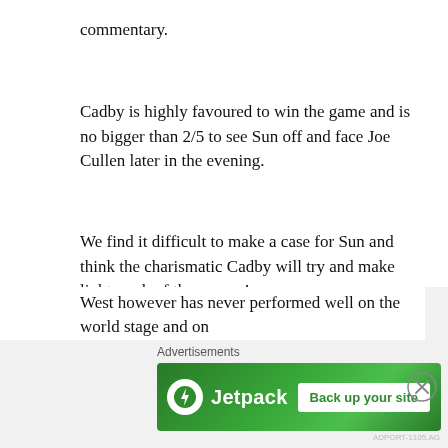commentary.
Cadby is highly favoured to win the game and is no bigger than 2/5 to see Sun off and face Joe Cullen later in the evening.
We find it difficult to make a case for Sun and think the charismatic Cadby will try and make light work of the opener!
Mervyn King is a first round choice we made a weeks ago and as if King has not enjoyed the best of 2016's Steve West could be a real threat based on his recent form this autumn.
West however has never performed well on the world stage and on
Advertisements
[Figure (other): Jetpack advertisement banner with green background, Jetpack logo and bolt icon, and 'Back up your site' button. Close button (X circle) on right side.]